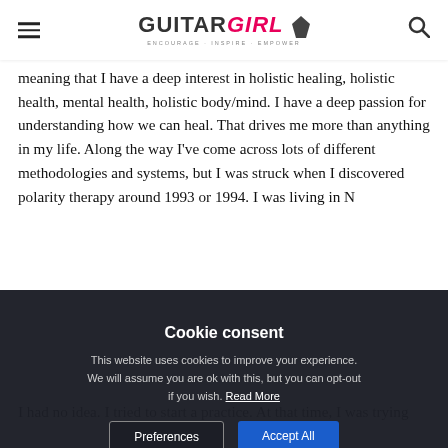Guitar Girl Magazine
meaning that I have a deep interest in holistic healing, holistic health, mental health, holistic body/mind. I have a deep passion for understanding how we can heal. That drives me more than anything in my life. Along the way I've come across lots of different methodologies and systems, but I was struck when I discovered polarity therapy around 1993 or 1994. I was living in N...
Cookie consent
This website uses cookies to improve your experience. We will assume you are ok with this, but you can opt-out if you wish. Read More
I had no idea. I tried to start a practice. At that time, I was trying